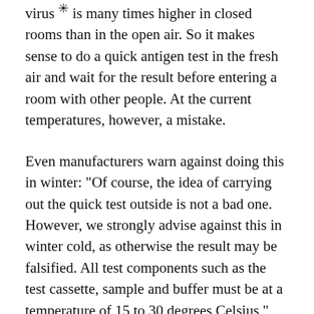virus ⨯ is many times higher in closed rooms than in the open air. So it makes sense to do a quick antigen test in the fresh air and wait for the result before entering a room with other people. At the current temperatures, however, a mistake.
Even manufacturers warn against doing this in winter: “Of course, the idea of carrying out the quick test outside is not a bad one. However, we strongly advise against this in winter cold, as otherwise the result may be falsified. All test components such as the test cassette, sample and buffer must be at a temperature of 15 to 30 degrees Celsius,” says Roland Meißner, Managing Director of nal von minden GmbH, a manufacturer of corona tests.